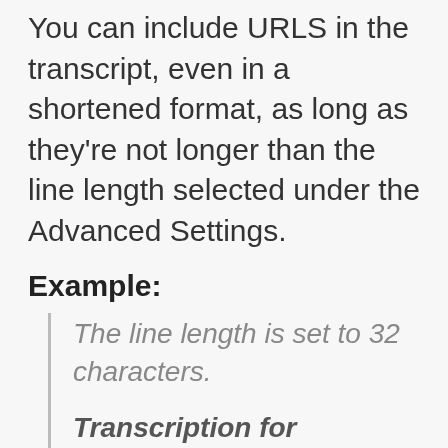You can include URLS in the transcript, even in a shortened format, as long as they're not longer than the line length selected under the Advanced Settings.
Example:
The line length is set to 32 characters.
Transcription for automated captioning:
Correct:
https://
support.automaticsync.com